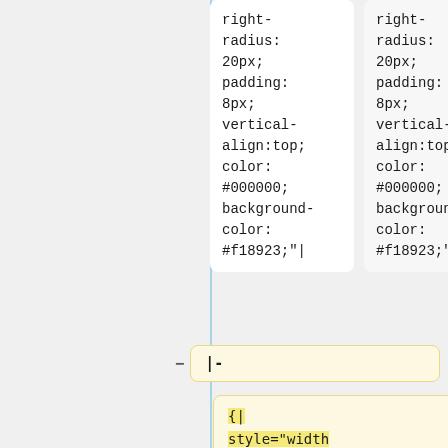right-
radius:
20px;
padding:
8px;
vertical-
align:top;
color:
#000000;
background-
color:
#f18923;"|
right-
radius:
20px;
padding:
8px;
vertical-
align:top;
color:
#000000;
background-
color:
#f18923;"|
|-
{|
style="width
:100%;
background-
color:
#ffffff;
color: